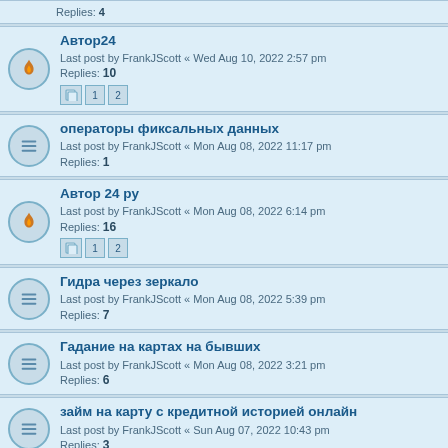Replies: 4
Автор24 — Last post by FrankJScott « Wed Aug 10, 2022 2:57 pm — Replies: 10
операторы фиксальных данных — Last post by FrankJScott « Mon Aug 08, 2022 11:17 pm — Replies: 1
Автор 24 ру — Last post by FrankJScott « Mon Aug 08, 2022 6:14 pm — Replies: 16
Гидра через зеркало — Last post by FrankJScott « Mon Aug 08, 2022 5:39 pm — Replies: 7
Гадание на картах на бывших — Last post by FrankJScott « Mon Aug 08, 2022 3:21 pm — Replies: 6
займ на карту с кредитной историей онлайн — Last post by FrankJScott « Sun Aug 07, 2022 10:43 pm — Replies: 3
программное обеспечение для бизнеса — Last post by FrankJScott « Sun Aug 07, 2022 1:05 pm — Replies: 1
Гидра ссылка zerkalo onion com — Last post by FrankJScott « Sat Aug 06, 2022 6:46 am — Replies: 7
ICQ:802868 Sell Fullz Info SSN DL Scan US UK, Image DL Front And Back + Ssn, Uk Dead Fullz, Info Fullz USA